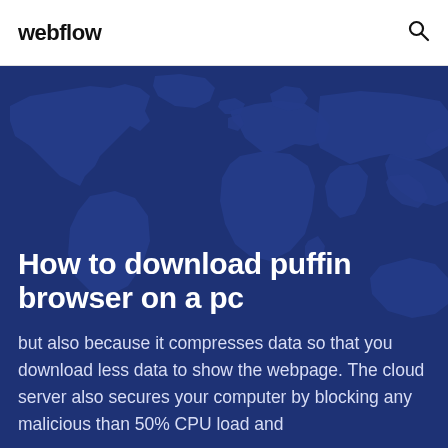webflow
[Figure (illustration): Dark blue world map silhouette background with deeper navy blue continent shapes visible across the hero section]
How to download puffin browser on a pc
but also because it compresses data so that you download less data to show the webpage. The cloud server also secures your computer by blocking any malicious than 50% CPU load and